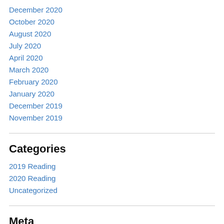December 2020
October 2020
August 2020
July 2020
April 2020
March 2020
February 2020
January 2020
December 2019
November 2019
Categories
2019 Reading
2020 Reading
Uncategorized
Meta